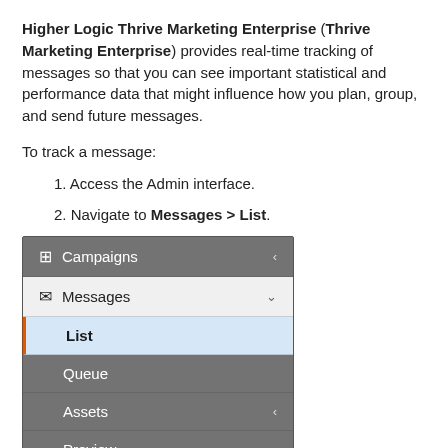Higher Logic Thrive Marketing Enterprise (Thrive Marketing Enterprise) provides real-time tracking of messages so that you can see important statistical and performance data that might influence how you plan, group, and send future messages.
To track a message:
1. Access the Admin interface.
2. Navigate to Messages > List.
[Figure (screenshot): Admin navigation menu showing Campaigns, Messages (expanded with checkmark), List (highlighted in blue), Queue, Assets, and Preview menu items]